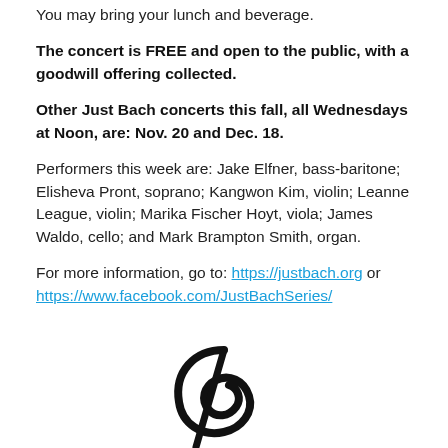You may bring your lunch and beverage.
The concert is FREE and open to the public, with a goodwill offering collected.
Other Just Bach concerts this fall, all Wednesdays at Noon, are: Nov. 20 and Dec. 18.
Performers this week are: Jake Elfner, bass-baritone; Elisheva Pront, soprano; Kangwon Kim, violin; Leanne League, violin; Marika Fischer Hoyt, viola; James Waldo, cello; and Mark Brampton Smith, organ.
For more information, go to: https://justbach.org or https://www.facebook.com/JustBachSeries/
[Figure (logo): Just Bach series logo showing a stylized bass clef musical symbol]